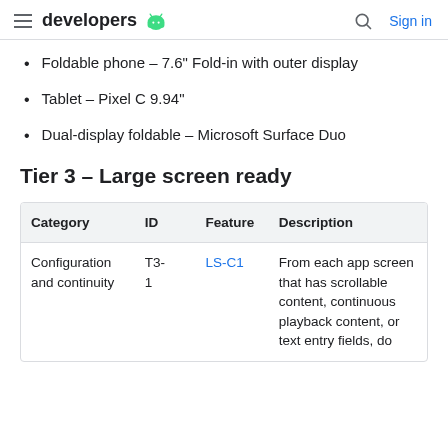developers [Android logo] | search | Sign in
Foldable phone – 7.6" Fold-in with outer display
Tablet – Pixel C 9.94"
Dual-display foldable – Microsoft Surface Duo
Tier 3 – Large screen ready
| Category | ID | Feature | Description |
| --- | --- | --- | --- |
| Configuration and continuity | T3-1 | LS-C1 | From each app screen that has scrollable content, continuous playback content, or text entry fields, do |